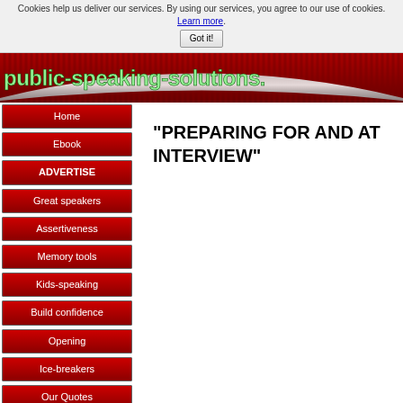Cookies help us deliver our services. By using our services, you agree to our use of cookies. Learn more.
Got it!
[Figure (logo): public-speaking-solutions website logo banner with green text on red striped background with metallic arc]
Home
Ebook
ADVERTISE
Great speakers
Assertiveness
Memory tools
Kids-speaking
Build confidence
Opening
Ice-breakers
Our Quotes
Interviews
"PREPARING FOR AND AT INTERVIEW"